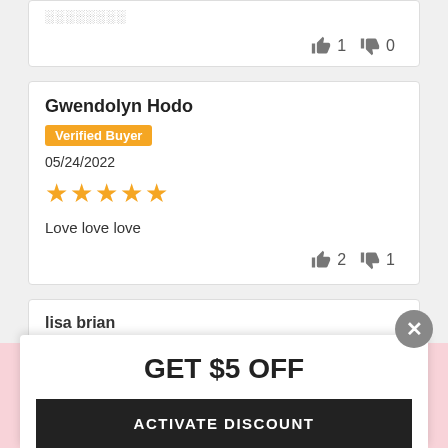░░░░░░░░
👍 1  👎 0
Gwendolyn Hodo
Verified Buyer
05/24/2022
[Figure (other): 5 gold stars rating]
Love love love
👍 2  👎 1
lisa brian
GET $5 OFF
ACTIVATE DISCOUNT